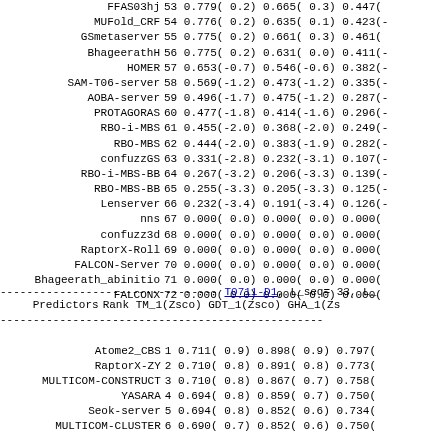| Predictors | Rank | TM_1(Zsco) | GDT_1(Zsco) | GHA_1(Zs... |
| --- | --- | --- | --- | --- |
| FFAS03hj | 53 | 0.779( 0.2) | 0.665( 0.3) | 0.447( |
| MUFold_CRF | 54 | 0.776( 0.2) | 0.635( 0.1) | 0.423(- |
| GSmetaserver | 55 | 0.775( 0.2) | 0.661( 0.3) | 0.461( |
| BhageerathH | 56 | 0.775( 0.2) | 0.631( 0.0) | 0.411(- |
| HOMER | 57 | 0.653(-0.7) | 0.546(-0.6) | 0.382(- |
| SAM-T06-server | 58 | 0.569(-1.2) | 0.473(-1.2) | 0.335(- |
| AOBA-server | 59 | 0.496(-1.7) | 0.475(-1.2) | 0.287(- |
| PROTAGORAS | 60 | 0.477(-1.8) | 0.414(-1.6) | 0.296(- |
| RBO-i-MBS | 61 | 0.455(-2.0) | 0.368(-2.0) | 0.249(- |
| RBO-MBS | 62 | 0.444(-2.0) | 0.383(-1.9) | 0.282(- |
| confuzzGS | 63 | 0.331(-2.8) | 0.232(-3.1) | 0.107(- |
| RBO-i-MBS-BB | 64 | 0.267(-3.2) | 0.206(-3.3) | 0.139(- |
| RBO-MBS-BB | 65 | 0.255(-3.3) | 0.205(-3.3) | 0.125(- |
| Lenserver | 66 | 0.232(-3.4) | 0.191(-3.4) | 0.126(- |
| nns | 67 | 0.000( 0.0) | 0.000( 0.0) | 0.000( |
| confuzz3d | 68 | 0.000( 0.0) | 0.000( 0.0) | 0.000( |
| RaptorX-Roll | 69 | 0.000( 0.0) | 0.000( 0.0) | 0.000( |
| FALCON-Server | 70 | 0.000( 0.0) | 0.000( 0.0) | 0.000( |
| Bhageerath_abinitio | 71 | 0.000( 0.0) | 0.000( 0.0) | 0.000( |
| FALCONX | 72 | 0.000( 0.0) | 0.000( 0.0) | 0.000( |
--------------------------------- T0711-D1, L_seq= 33, L_
| Predictors | Rank | TM_1(Zsco) | GDT_1(Zsco) | GHA_1(Zs... |
| --- | --- | --- | --- | --- |
| Atome2_CBS | 1 | 0.711( 0.9) | 0.898( 0.9) | 0.797( |
| RaptorX-ZY | 2 | 0.710( 0.8) | 0.891( 0.8) | 0.773( |
| MULTICOM-CONSTRUCT | 3 | 0.710( 0.8) | 0.867( 0.7) | 0.758( |
| YASARA | 4 | 0.694( 0.8) | 0.859( 0.7) | 0.750( |
| Seok-server | 5 | 0.694( 0.8) | 0.852( 0.6) | 0.734( |
| MULTICOM-CLUSTER | 6 | 0.690( 0.7) | 0.852( 0.6) | 0.750( |